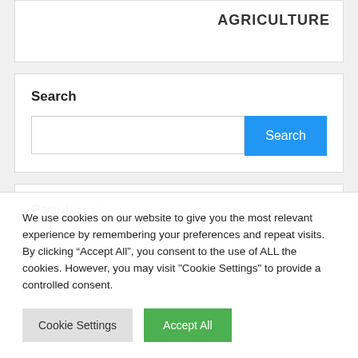AGRICULTURE
Search
We use cookies on our website to give you the most relevant experience by remembering your preferences and repeat visits. By clicking “Accept All”, you consent to the use of ALL the cookies. However, you may visit "Cookie Settings" to provide a controlled consent.
Cookie Settings | Accept All